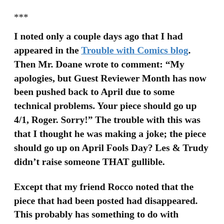***
I noted only a couple days ago that I had appeared in the Trouble with Comics blog. Then Mr. Doane wrote to comment: “My apologies, but Guest Reviewer Month has now been pushed back to April due to some technical problems. Your piece should go up 4/1, Roger. Sorry!” The trouble with this was that I thought he was making a joke; the piece should go up on April Fools Day? Les & Trudy didn’t raise someone THAT gullible.
Except that my friend Rocco noted that the piece that had been posted had disappeared. This probably has something to do with Trouble with Comics changing its URL because